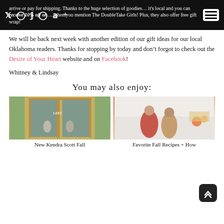arrive or pay for shipping. Thanks to the huge selection of goodies… it's local and you can receive 10% off on… when you mention The DoubleTake Girls! Plus, they also offer free gift wrap!
We will be back next week with another edition of our gift ideas for our local Oklahoma readers. Thanks for stopping by today and don't forgot to check out the Desire of Your Heart website and on Facebook!
Whitney & Lindsay
You may also enjoy:
[Figure (photo): Photo of two women standing in front of gold-framed glass doors of a building]
New Kendra Scott Fall
[Figure (photo): Photo of two women in floral and plaid dresses standing in a kitchen with fall decorations]
Favorite Fall Recipes + How